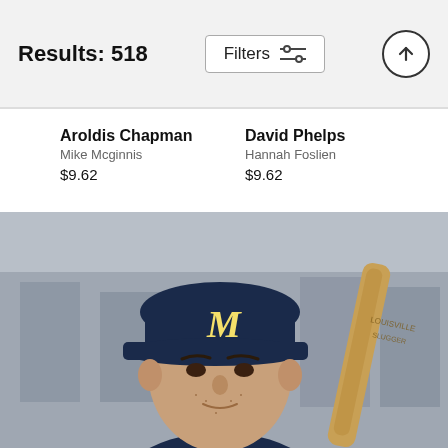Results: 518
Aroldis Chapman
Mike Mcginnis
$9.62
David Phelps
Hannah Foslien
$9.62
[Figure (photo): Close-up portrait photo of a Milwaukee Brewers baseball player wearing a navy blue M cap and holding a wooden bat near his shoulder, with a blurred urban background.]